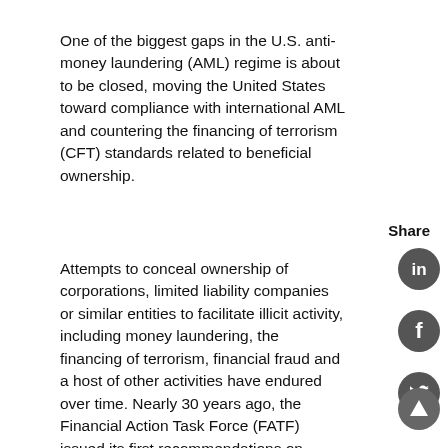One of the biggest gaps in the U.S. anti-money laundering (AML) regime is about to be closed, moving the United States toward compliance with international AML and countering the financing of terrorism (CFT) standards related to beneficial ownership.
Share
[Figure (illustration): LinkedIn share icon - dark grey circle with white LinkedIn 'in' logo]
[Figure (illustration): Facebook share icon - dark grey circle with white Facebook 'f' logo]
[Figure (illustration): Twitter share icon - dark grey circle with white Twitter bird logo]
Attempts to conceal ownership of corporations, limited liability companies or similar entities to facilitate illicit activity, including money laundering, the financing of terrorism, financial fraud and a host of other activities have endured over time. Nearly 30 years ago, the Financial Action Task Force (FATF) issued its first recommendations on beneficial ownership. While other countries and jurisdictions moved to close gaps in their AML regimes by addressing both the roles of financial institutions and governments, the United States' response to date has only dealt with the industry's obligations to provide “timely access to adequate, accurate and current beneficial ownership information.” This has led to ongoing criticisms of the U.S. AML regime, most recently in FATF’s 2016 Mutual
[Figure (illustration): Scroll-to-top arrow icon - dark grey circle with white upward arrow]